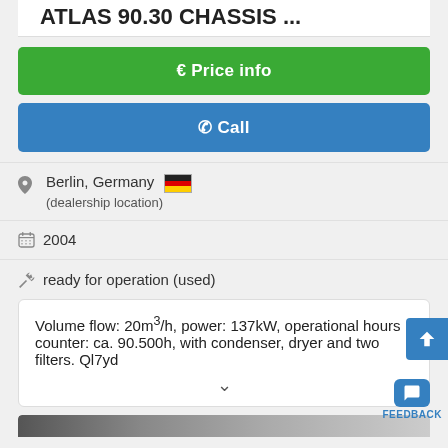€ Price info
✆ Call
Berlin, Germany (dealership location)
2004
ready for operation (used)
Volume flow: 20m³/h, power: 137kW, operational hours counter: ca. 90.500h, with condenser, dryer and two filters. Ql7yd